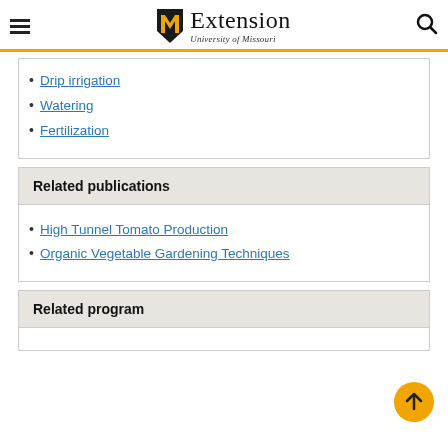Extension University of Missouri
Drip irrigation
Watering
Fertilization
Related publications
High Tunnel Tomato Production
Organic Vegetable Gardening Techniques
Related program